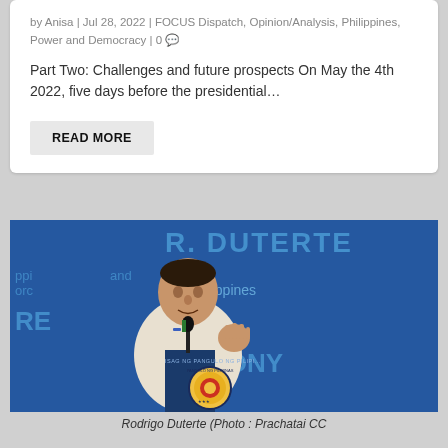by Anisa | Jul 28, 2022 | FOCUS Dispatch, Opinion/Analysis, Philippines, Power and Democracy | 0 💬
Part Two: Challenges and future prospects On May the 4th 2022, five days before the presidential…
READ MORE
[Figure (photo): Rodrigo Duterte speaking at a podium with Philippine presidential seal, in front of a blue banner reading R. Duterte and Philippines]
Rodrigo Duterte (Photo : Prachatai CC https://www.flickr.com/photos/prachatai/32533475146)